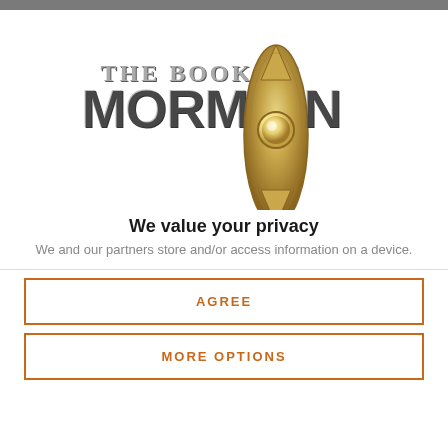[Figure (logo): The Book of Mormon musical logo with a decorative brass doorbell in the center replacing the 'O' in MORMON. Text reads 'THE BOOK OF' above 'MORMON' in large bold letters with a metallic/stone texture.]
We value your privacy
We and our partners store and/or access information on a device.
AGREE
MORE OPTIONS